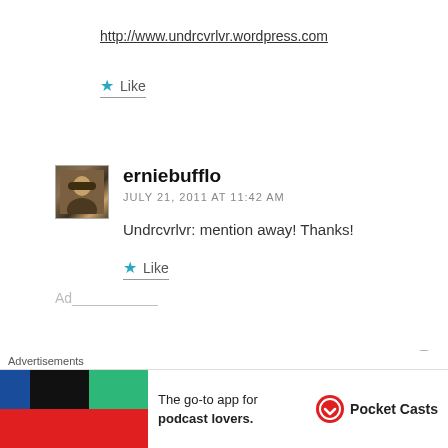http://www.undrcvrlvr.wordpress.com
Like
erniebufflo
JULY 21, 2011 AT 11:42 AM
Undrcvrlvr: mention away! Thanks!
Like
Advertisements
[Figure (other): Pocket Casts advertisement banner: The go-to app for podcast lovers.]